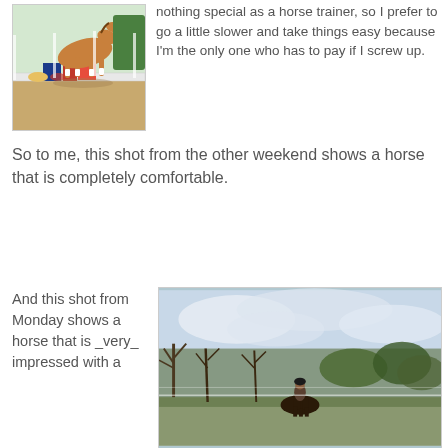[Figure (photo): A horse jumping over a fence rail in an equestrian arena, with colored blocks visible, sandy footing]
nothing special as a horse trainer, so I prefer to go a little slower and take things easy because I'm the only one who has to pay if I screw up.
So to me, this shot from the other weekend shows a horse that is completely comfortable.
And this shot from Monday shows a horse that is _very_ impressed with a
[Figure (photo): A horse and rider in an outdoor arena with trees and cloudy sky in the background]